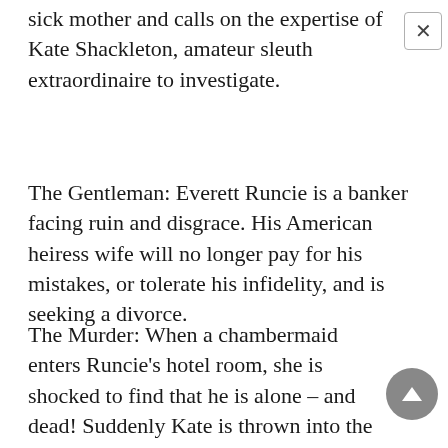sick mother and calls on the expertise of Kate Shackleton, amateur sleuth extraordinaire to investigate.
The Gentleman: Everett Runcie is a banker facing ruin and disgrace. His American heiress wife will no longer pay for his mistakes, or tolerate his infidelity, and is seeking a divorce.
The Murder: When a chambermaid enters Runcie's hotel room, she is shocked to find that he is alone – and dead! Suddenly Kate is thrown into the depths of an altogether more sinister investigation